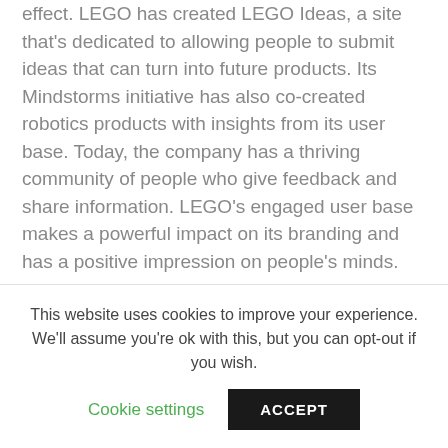effect. LEGO has created LEGO Ideas, a site that's dedicated to allowing people to submit ideas that can turn into future products. Its Mindstorms initiative has also co-created robotics products with insights from its user base. Today, the company has a thriving community of people who give feedback and share information. LEGO's engaged user base makes a powerful impact on its branding and has a positive impression on people's minds.
You can ask your customers to co-create with you by reaching out to them. You can do this by creating a
This website uses cookies to improve your experience. We'll assume you're ok with this, but you can opt-out if you wish.
Cookie settings
ACCEPT